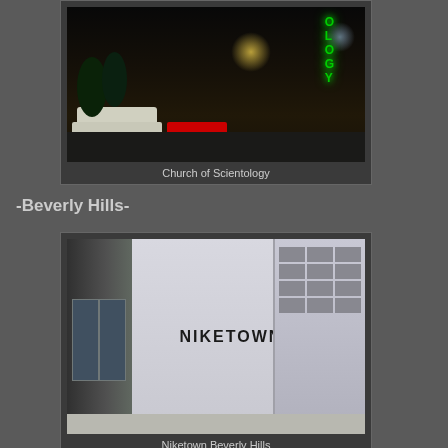[Figure (photo): Night street scene showing Church of Scientology sign lit up in green, with traffic and cars on a busy urban street]
Church of Scientology
-Beverly Hills-
[Figure (photo): Exterior daytime photo of Niketown Beverly Hills store building, showing the large Niketown sign on a modern multi-story building facade]
Niketown Beverly Hills